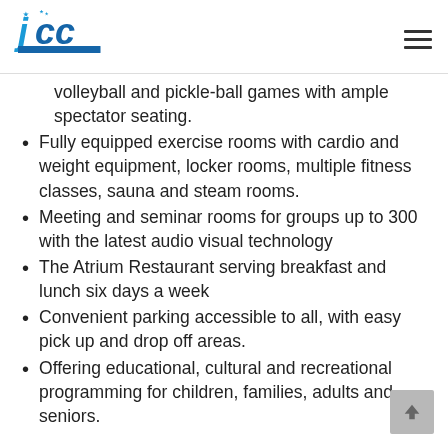JCC logo and navigation menu
volleyball and pickle-ball games with ample spectator seating.
Fully equipped exercise rooms with cardio and weight equipment, locker rooms, multiple fitness classes, sauna and steam rooms.
Meeting and seminar rooms for groups up to 300 with the latest audio visual technology
The Atrium Restaurant serving breakfast and lunch six days a week
Convenient parking accessible to all, with easy pick up and drop off areas.
Offering educational, cultural and recreational programming for children, families, adults and seniors.